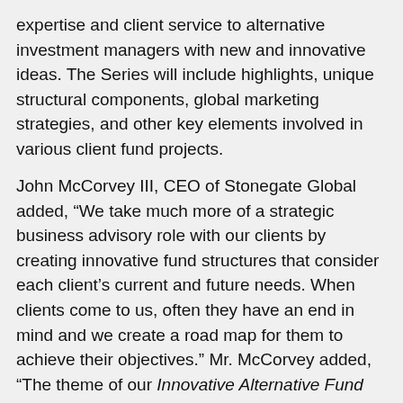expertise and client service to alternative investment managers with new and innovative ideas. The Series will include highlights, unique structural components, global marketing strategies, and other key elements involved in various client fund projects.
John McCorvey III, CEO of Stonegate Global added, “We take much more of a strategic business advisory role with our clients by creating innovative fund structures that consider each client’s current and future needs. When clients come to us, often they have an end in mind and we create a road map for them to achieve their objectives.” Mr. McCorvey added, “The theme of our Innovative Alternative Fund Solutions Series is based on an old Chinese Proverb – “To know the road ahead, ask those coming back.” We help our clients to understand what’s around the next corner by leveraging our depth of experience in global, multi- asset class fund formation, fund administration, prime brokerage, capital raising and global fund marketing. We evaluate all aspects of each project to select the most appropriate jurisdiction, customize various structural elements, implement multi-jurisdictional tax mitigation strategies, develop global